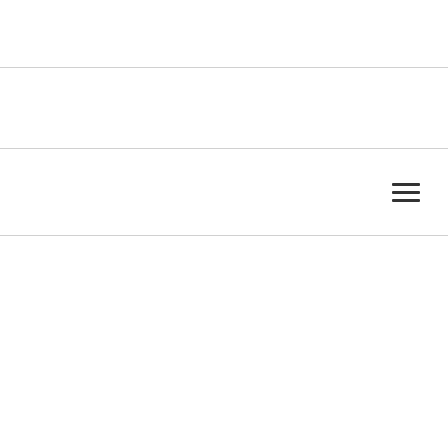[Figure (screenshot): Website header with navigation bar containing hamburger menu icon]
Nonprofit Management and